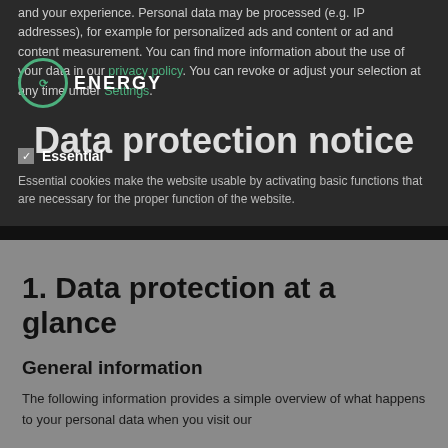and your experience. Personal data may be processed (e.g. IP addresses), for example for personalized ads and content or ad and content measurement. You can find more information about the use of your data in our privacy policy. You can revoke or adjust your selection at any time under Settings.
Essential
Essential cookies make the website usable by activating basic functions that are necessary for the proper function of the website.
Data protection notice
1. Data protection at a glance
General information
The following information provides a simple overview of what happens to your personal data when you visit our